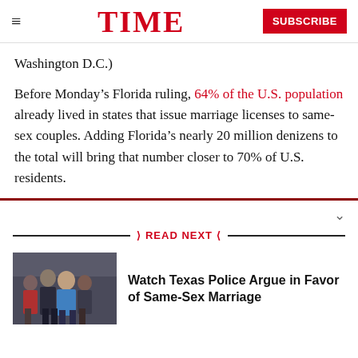TIME | SUBSCRIBE
Washington D.C.)
Before Monday's Florida ruling, 64% of the U.S. population already lived in states that issue marriage licenses to same-sex couples. Adding Florida's nearly 20 million denizens to the total will bring that number closer to 70% of U.S. residents.
READ NEXT
[Figure (photo): Group photo of several people including a man in a blue shirt, used as thumbnail for article about Texas Police]
Watch Texas Police Argue in Favor of Same-Sex Marriage